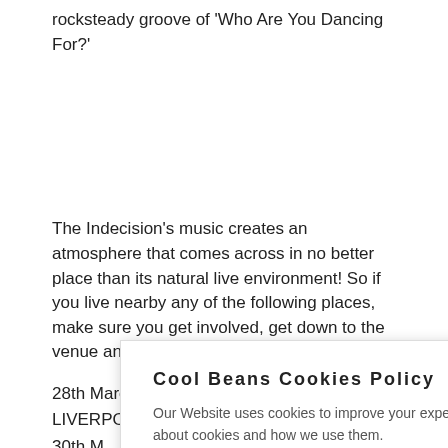rocksteady groove of 'Who Are You Dancing For?'
The Indecision's music creates an atmosphere that comes across in no better place than its natural live environment! So if you live nearby any of the following places, make sure you get involved, get down to the venue and get your skank on.
28th March – Threshold Festival, LIVERPOOL
30th M...
3rd A...
11th A...
12th A...
13th...
Cool Beans Cookies Policy
Our Website uses cookies to improve your experience. Please visit our Privacy Policy page for more information about cookies and how we use them.